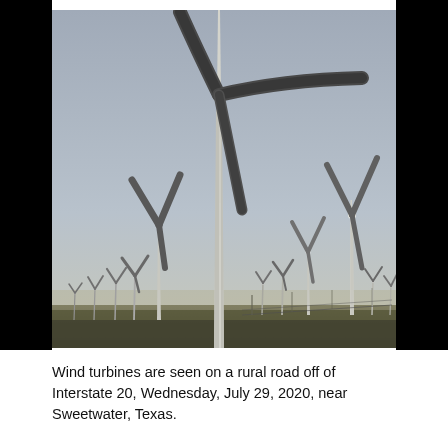[Figure (photo): A wind farm with multiple wind turbines of varying sizes seen on a rural road off of Interstate 20, near Sweetwater, Texas. The foreground shows a large turbine prominently centered, with many smaller turbines receding into the background under a grey sky.]
Wind turbines are seen on a rural road off of Interstate 20, Wednesday, July 29, 2020, near Sweetwater, Texas.